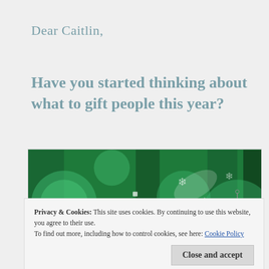Dear Caitlin,
Have you started thinking about what to gift people this year?
[Figure (photo): Close-up photograph of green Christmas gift wrap/wrapping paper with white circular ornament patterns, snowflakes, and a gift tag that reads TO, FROM, For You!]
Privacy & Cookies: This site uses cookies. By continuing to use this website, you agree to their use.
To find out more, including how to control cookies, see here: Cookie Policy